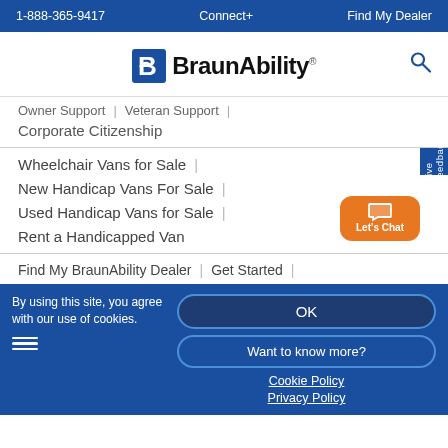1-888-365-9417 | Connect+ | Find My Dealer
[Figure (logo): BraunAbility logo with stylized B icon and bold text]
Owner Support | Veteran Support |
Corporate Citizenship
Wheelchair Vans for Sale |
New Handicap Vans For Sale |
Used Handicap Vans for Sale |
Rent a Handicapped Van
Find My BraunAbility Dealer | Get Started |
By using this site, you agree with our use of cookies.
OK
Want to know more?
Cookie Policy
Privacy Policy